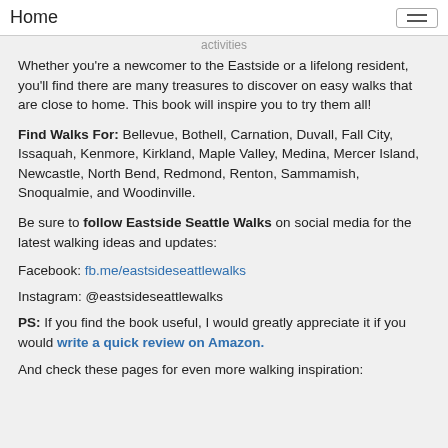Home
activities
Whether you're a newcomer to the Eastside or a lifelong resident, you'll find there are many treasures to discover on easy walks that are close to home. This book will inspire you to try them all!
Find Walks For: Bellevue, Bothell, Carnation, Duvall, Fall City, Issaquah, Kenmore, Kirkland, Maple Valley, Medina, Mercer Island, Newcastle, North Bend, Redmond, Renton, Sammamish, Snoqualmie, and Woodinville.
Be sure to follow Eastside Seattle Walks on social media for the latest walking ideas and updates:
Facebook: fb.me/eastsideseattlewalks
Instagram: @eastsideseattlewalks
PS: If you find the book useful, I would greatly appreciate it if you would write a quick review on Amazon.
And check these pages for even more walking inspiration: